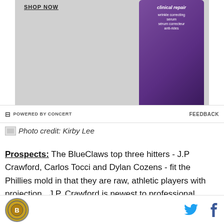[Figure (photo): Advertisement banner with 'SHOP NOW' text and a purple skincare product bottle labeled 'clinical repair wrinkle correcting serum']
POWERED BY CONCERT    FEEDBACK
Photo credit: Kirby Lee
Prospects: The BlueClaws top three hitters - J.P Crawford, Carlos Tocci and Dylan Cozens - fit the Phillies mold in that they are raw, athletic players with projection.  J.P. Crawford is newest to professional baseball but is the most polished of the group. The report on Crawford is that he lacks strength and, therefore, power but he's 6'2' with long levers.  He hit a
Logo | Twitter | Facebook